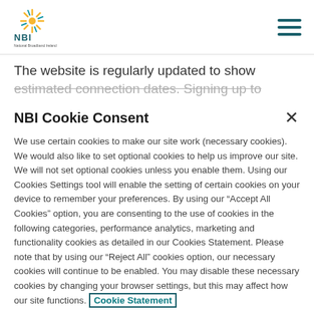[Figure (logo): NBI (National Broadband Ireland) logo with sunburst graphic and text]
The website is regularly updated to show estimated connection dates. Signing up to
NBI Cookie Consent
We use certain cookies to make our site work (necessary cookies). We would also like to set optional cookies to help us improve our site. We will not set optional cookies unless you enable them. Using our Cookies Settings tool will enable the setting of certain cookies on your device to remember your preferences. By using our “Accept All Cookies” option, you are consenting to the use of cookies in the following categories, performance analytics, marketing and functionality cookies as detailed in our Cookies Statement. Please note that by using our “Reject All” cookies option, our necessary cookies will continue to be enabled. You may disable these necessary cookies by changing your browser settings, but this may affect how our site functions. Cookie Statement